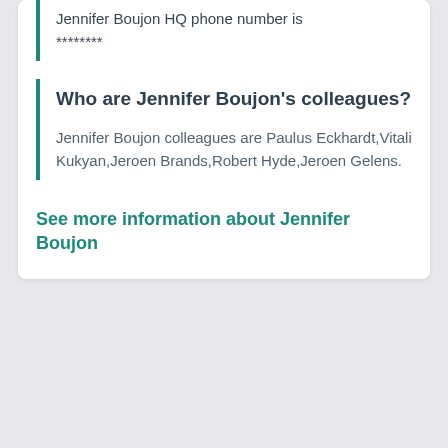Jennifer Boujon HQ phone number is ********
Who are Jennifer Boujon's colleagues?
Jennifer Boujon colleagues are Paulus Eckhardt,Vitali Kukyan,Jeroen Brands,Robert Hyde,Jeroen Gelens.
See more information about Jennifer Boujon